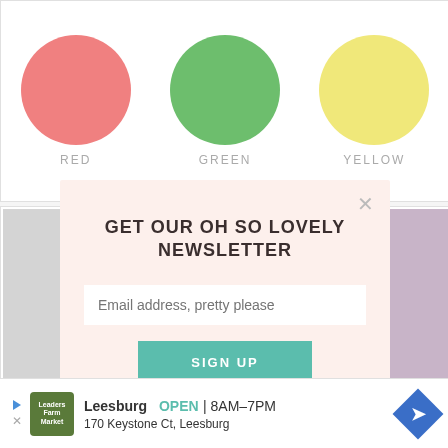[Figure (illustration): Three fabric color swatches as circles: red, green, yellow]
RED
GREEN
YELLOW
[Figure (photo): Grid of wedding category photos: rings, dresses, bridesmaids]
RINGS
DRESSES
BRIDESMAIDS
GET OUR OH SO LOVELY NEWSLETTER
Email address, pretty please
SIGN UP
Leesburg  OPEN  8AM–7PM  170 Keystone Ct, Leesburg